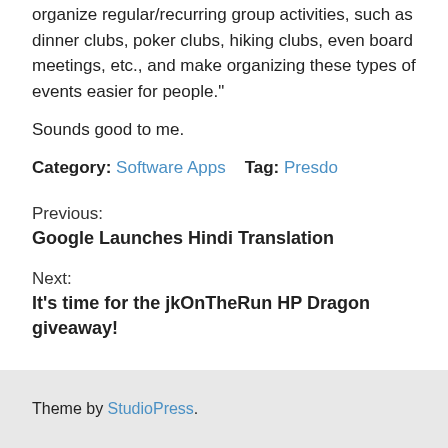organize regular/recurring group activities, such as dinner clubs, poker clubs, hiking clubs, even board meetings, etc., and make organizing these types of events easier for people."
Sounds good to me.
Category: Software Apps   Tag: Presdo
Previous:
Google Launches Hindi Translation
Next:
It's time for the jkOnTheRun HP Dragon giveaway!
Theme by StudioPress.